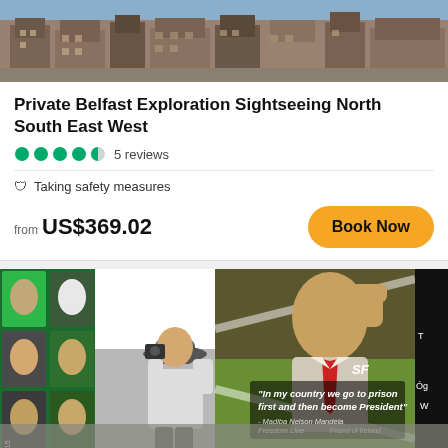[Figure (photo): Aerial/street view of Belfast city buildings, rooftops visible from above, brick and concrete architecture]
Private Belfast Exploration Sightseeing North South East West
5 reviews
Taking safety measures
from US$369.02
Book Now
[Figure (photo): Man photographing a large Belfast mural depicting Nelson Mandela with raised fist and quote 'In my country we go to prison first and then become President' - Madiba Nelson Mandela Freedom Line, Friend of Ireland. SF logo visible. Colorful political mural with other portraits on left side.]